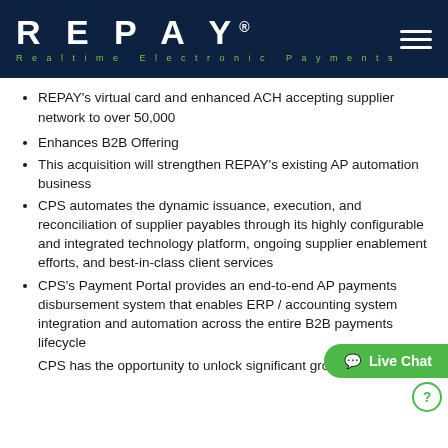REPAY — Realtime Electronic Payments
REPAY's virtual card and enhanced ACH accepting supplier network to over 50,000
Enhances B2B Offering
This acquisition will strengthen REPAY's existing AP automation business
CPS automates the dynamic issuance, execution, and reconciliation of supplier payables through its highly configurable and integrated technology platform, ongoing supplier enablement efforts, and best-in-class client services
CPS's Payment Portal provides an end-to-end AP payments disbursement system that enables ERP / accounting system integration and automation across the entire B2B payments lifecycle
CPS has the opportunity to unlock significant growth